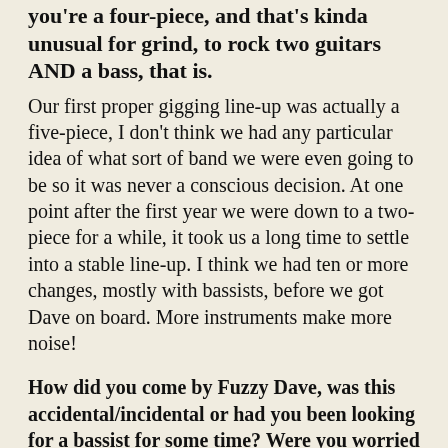you're a four-piece, and that's kinda unusual for grind, to rock two guitars AND a bass, that is.
Our first proper gigging line-up was actually a five-piece, I don't think we had any particular idea of what sort of band we were even going to be so it was never a conscious decision. At one point after the first year we were down to a two-piece for a while, it took us a long time to settle into a stable line-up. I think we had ten or more changes, mostly with bassists, before we got Dave on board. More instruments make more noise!
How did you come by Fuzzy Dave, was this accidental/incidental or had you been looking for a bassist for some time? Were you worried about not leaving space in your sound or was it about thickening it up, creating a wall?